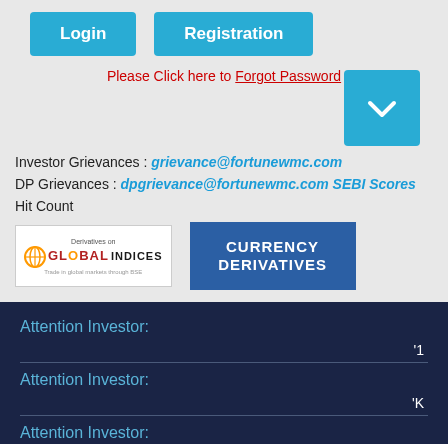Login
Registration
Please Click here to Forgot Password
Investor Grievances : grievance@fortunewmc.com
DP Grievances : dpgrievance@fortunewmc.com SEBI Scores
Hit Count
[Figure (logo): Derivatives on Global Indices logo with globe icon]
[Figure (logo): Currency Derivatives banner in blue]
Attention Investor:
'1
Attention Investor:
'K
Attention Investor: